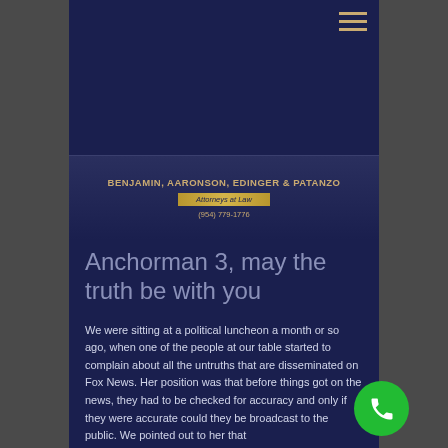[Figure (logo): Benjamin, Aaronson, Edinger & Patanzo law firm logo with hamburger menu icon. Dark navy background with gold firm name text, attorneys at law badge, and phone number (954) 779-1776.]
Anchorman 3, may the truth be with you
We were sitting at a political luncheon a month or so ago, when one of the people at our table started to complain about all the untruths that are disseminated on Fox News. Her position was that before things got on the news, they had to be checked for accuracy and only if they were accurate could they be broadcast to the public. We pointed out to her that